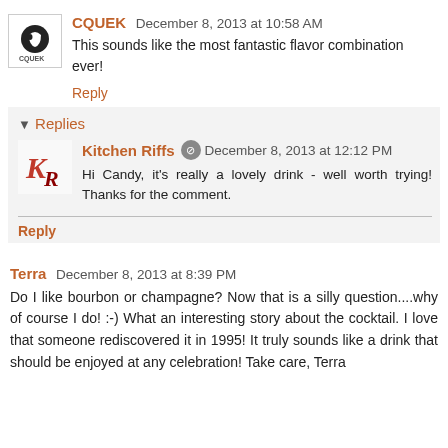CQUEK December 8, 2013 at 10:58 AM
This sounds like the most fantastic flavor combination ever!
Reply
Replies
Kitchen Riffs December 8, 2013 at 12:12 PM
Hi Candy, it's really a lovely drink - well worth trying! Thanks for the comment.
Reply
Terra December 8, 2013 at 8:39 PM
Do I like bourbon or champagne? Now that is a silly question....why of course I do! :-) What an interesting story about the cocktail. I love that someone rediscovered it in 1995! It truly sounds like a drink that should be enjoyed at any celebration! Take care, Terra